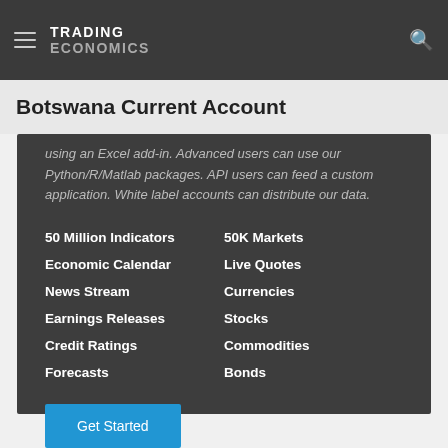TRADING ECONOMICS
Botswana Current Account
using an Excel add-in. Advanced users can use our Python/R/Matlab packages. API users can feed a custom application. White label accounts can distribute our data.
50 Million Indicators
Economic Calendar
News Stream
Earnings Releases
Credit Ratings
Forecasts
50K Markets
Live Quotes
Currencies
Stocks
Commodities
Bonds
Get Started